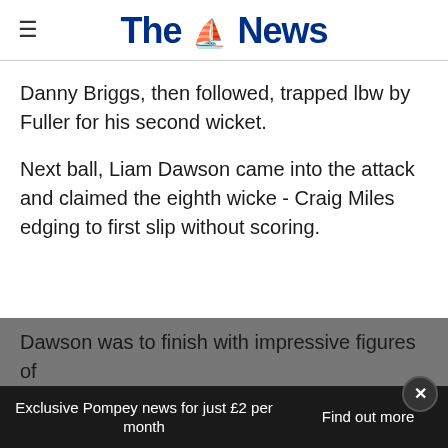The News
Danny Briggs, then followed, trapped lbw by Fuller for his second wicket.
Next ball, Liam Dawson came into the attack and claimed the eighth wicke - Craig Miles edging to first slip without scoring.
Dawson was to finish with impressive figures of
Exclusive Pompey news for just £2 per month | Find out more